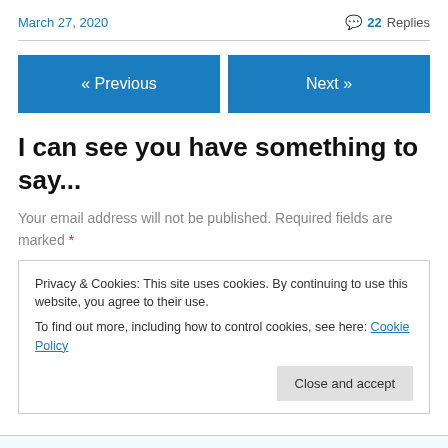March 27, 2020
💬 22 Replies
« Previous
Next »
I can see you have something to say...
Your email address will not be published. Required fields are marked *
Privacy & Cookies: This site uses cookies. By continuing to use this website, you agree to their use.
To find out more, including how to control cookies, see here: Cookie Policy
Close and accept